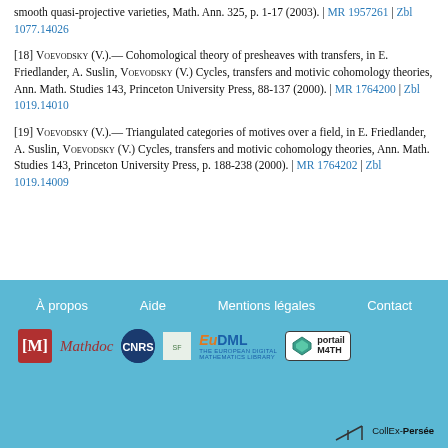smooth quasi-projective varieties, Math. Ann. 325, p. 1-17 (2003). | MR 1957261 | Zbl 1077.14026
[18] Voevodsky (V.).— Cohomological theory of presheaves with transfers, in E. Friedlander, A. Suslin, Voevodsky (V.) Cycles, transfers and motivic cohomology theories, Ann. Math. Studies 143, Princeton University Press, 88-137 (2000). | MR 1764200 | Zbl 1019.14010
[19] Voevodsky (V.).— Triangulated categories of motives over a field, in E. Friedlander, A. Suslin, Voevodsky (V.) Cycles, transfers and motivic cohomology theories, Ann. Math. Studies 143, Princeton University Press, p. 188-238 (2000). | MR 1764202 | Zbl 1019.14009
À propos | Aide | Mentions légales | Contact | Mathdoc | CNRS | EuDML | Portail M4TH | CollEx-Persée